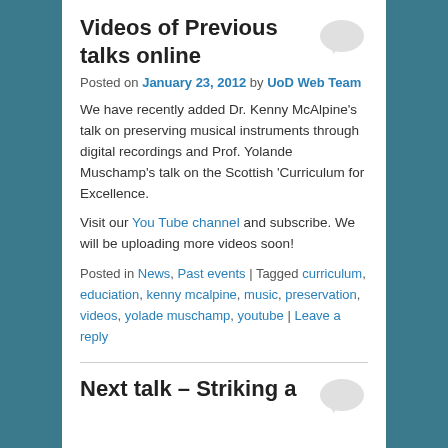Videos of Previous talks online
Posted on January 23, 2012 by UoD Web Team
We have recently added Dr. Kenny McAlpine's talk on preserving musical instruments through digital recordings and Prof. Yolande Muschamp's talk on the Scottish 'Curriculum for Excellence.
Visit our You Tube channel and subscribe. We will be uploading more videos soon!
Posted in News, Past events | Tagged curriculum, educiation, kenny mcalpine, music, preservation, videos, yolade muschamp, youtube | Leave a reply
Next talk – Striking a